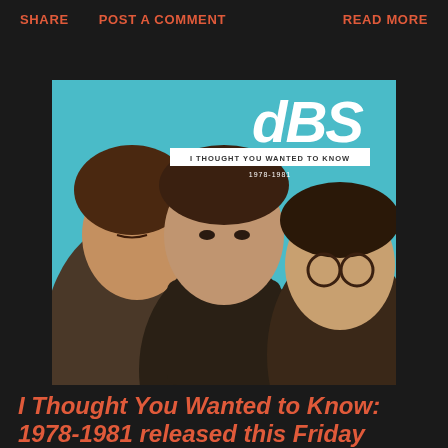SHARE   POST A COMMENT   READ MORE
[Figure (photo): Album cover for 'dBS - I Thought You Wanted to Know 1978-1981' showing three band members shot from below against a teal/blue background. The dBS logo appears in large white italic text at top right. A white banner reads 'I THOUGHT YOU WANTED TO KNOW' with '1978-1981' below it.]
I Thought You Wanted to Know: 1978-1981 released this Friday